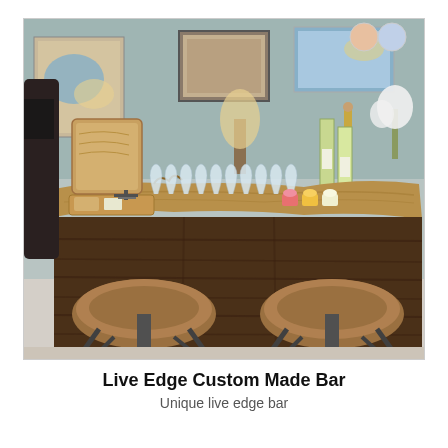[Figure (photo): A live edge custom made bar with a wide wooden top featuring natural edge detailing, dark wood grain paneled front, two rustic wooden bar stools with metal legs, wine glasses lined up on the bar top, wine bottles, small dessert cups, and a decorative wooden board. Background shows a room with framed artwork, lamps, and flowers.]
Live Edge Custom Made Bar
Unique live edge bar